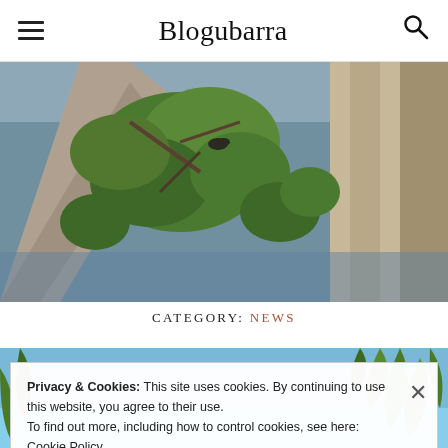Blogubarra
[Figure (photo): Outdoor nature scene showing tall eucalyptus tree trunks, green foliage, and a grey-blue water body in the background; a bird is visible near a tree branch.]
CATEGORY: NEWS
[Figure (photo): Partial view of a blue sky with green palm fronds, partially obscured by a cookie consent banner.]
Privacy & Cookies: This site uses cookies. By continuing to use this website, you agree to their use.
To find out more, including how to control cookies, see here: Cookie Policy
Close and accept